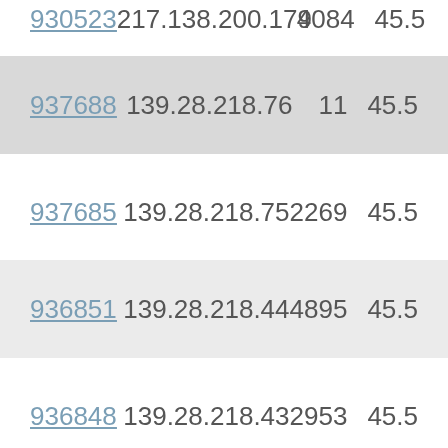| 930523 | 217.138.200.179 | 4084 | 45.5 |
| 937688 | 139.28.218.76 | 11 | 45.5 |
| 937685 | 139.28.218.75 | 2269 | 45.5 |
| 936851 | 139.28.218.44 | 4895 | 45.5 |
| 936848 | 139.28.218.43 | 2953 | 45.5 |